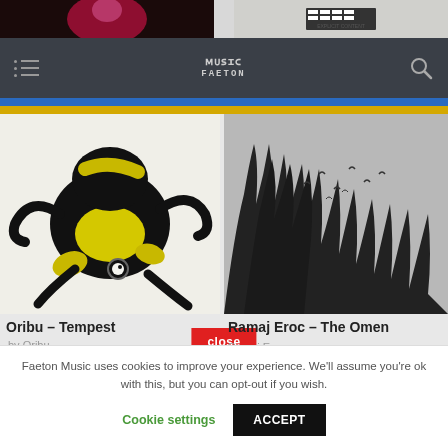[Figure (screenshot): Top strip with two album cover thumbnails, dark on left and silver/white on right]
[Figure (screenshot): Navigation bar with hamburger menu icon, Faeton Music logo, and search icon on dark background with blue and yellow accent bars]
[Figure (illustration): Album cover for Oribu – Tempest: black and yellow poison dart frog illustration on white background]
Oribu – Tempest
by Oribu
[Figure (photo): Album cover for Ramaj Eroc – The Omen: black and white photo of tree canopy with birds flying]
Ramaj Eroc – The Omen
Ramaj Eroc
close
Faeton Music uses cookies to improve your experience. We'll assume you're ok with this, but you can opt-out if you wish.
Cookie settings
ACCEPT